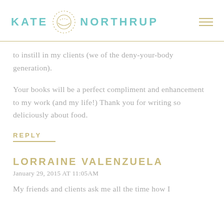[Figure (logo): Kate Northrup logo with teal text and circular dotted emblem, with hamburger menu icon in gold on the right]
to instill in my clients (we of the deny-your-body generation).
Your books will be a perfect compliment and enhancement to my work (and my life!) Thank you for writing so deliciously about food.
REPLY
LORRAINE VALENZUELA
January 29, 2015 AT 11:05AM
My friends and clients ask me all the time how I